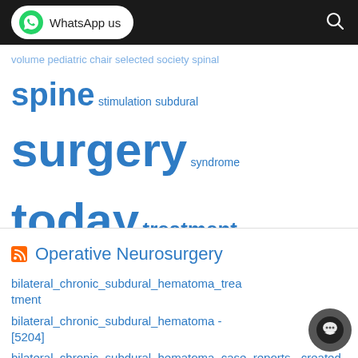WhatsApp us
spine stimulation subdural surgery syndrome today treatment update uptodate
Operative Neurosurgery
bilateral_chronic_subdural_hematoma_treatment
bilateral_chronic_subdural_hematoma - [5204]
bilateral_chronic_subdural_hematoma_case_reports - created